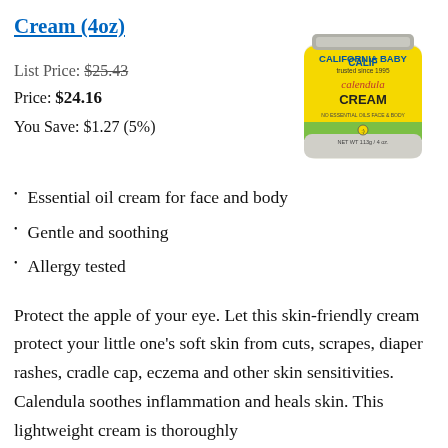Cream (4oz)
List Price: $25.43
Price: $24.16
You Save: $1.27 (5%)
[Figure (photo): California Baby Calendula Cream product jar with yellow and green label, 4oz/113g]
Essential oil cream for face and body
Gentle and soothing
Allergy tested
Protect the apple of your eye. Let this skin-friendly cream protect your little one's soft skin from cuts, scrapes, diaper rashes, cradle cap, eczema and other skin sensitivities. Calendula soothes inflammation and heals skin. This lightweight cream is thoroughly